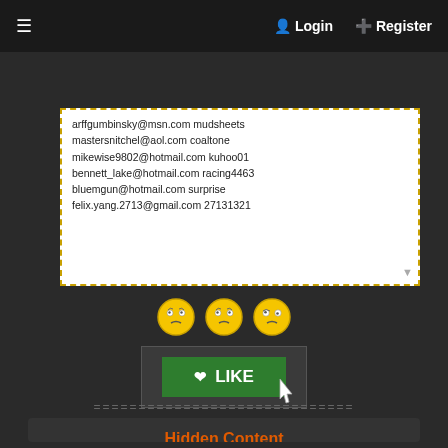≡  Login  + Register
arffgumbinsky@msn.com mudsheets
mastersnitchel@aol.com coaltone
mikewise9802@hotmail.com kuhoo01
bennett_lake@hotmail.com racing4463
bluemgun@hotmail.com surprise
felix.yang.2713@gmail.com 27131321
[Figure (screenshot): Three confused/skeptical emoji faces in yellow]
[Figure (screenshot): Green LIKE button with heart icon and cursor hand pointer]
=============================
Hidden Content
You must reply to this thread to view this content or upgrade your account.

Note: Upgrade your account to see all hidden content on every post without replying and prevent getting banned.